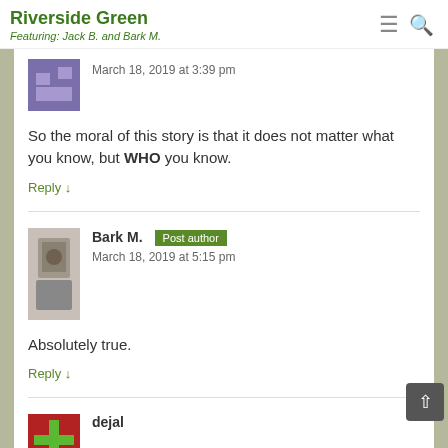Riverside Green
Featuring: Jack B. and Bark M.
March 18, 2019 at 3:39 pm
So the moral of this story is that it does not matter what you know, but WHO you know.
Reply ↓
Bark M. Post author
March 18, 2019 at 5:15 pm
Absolutely true.
Reply ↓
dejal